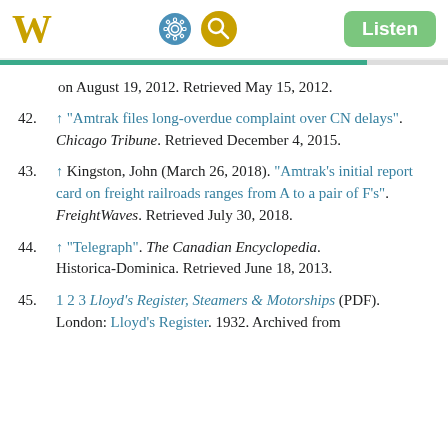W [Wikipedia logo] [settings icon] [search icon] Listen
on August 19, 2012. Retrieved May 15, 2012.
42. ↑ "Amtrak files long-overdue complaint over CN delays". Chicago Tribune. Retrieved December 4, 2015.
43. ↑ Kingston, John (March 26, 2018). "Amtrak's initial report card on freight railroads ranges from A to a pair of F's". FreightWaves. Retrieved July 30, 2018.
44. ↑ "Telegraph". The Canadian Encyclopedia. Historica-Dominica. Retrieved June 18, 2013.
45. 1 2 3 Lloyd's Register, Steamers & Motorships (PDF). London: Lloyd's Register. 1932. Archived from